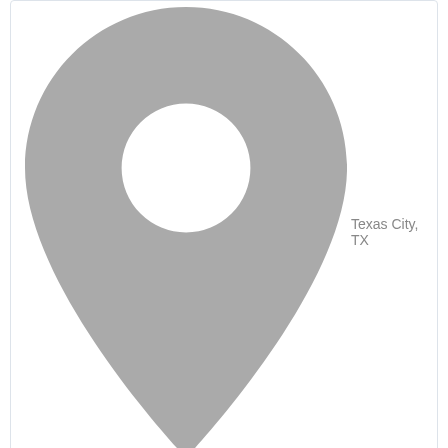Texas City, TX
Litigation
[Figure (other): Profile card for Bruce F. with initials avatar BF, star rating, location Texas City TX, practice area Litigation]
[Figure (other): Profile card for Steve J. with initials avatar SJ, star rating, location Texas TX, practice area Litigation]
Related Articles
Litigation Costs
Infringement Litigation